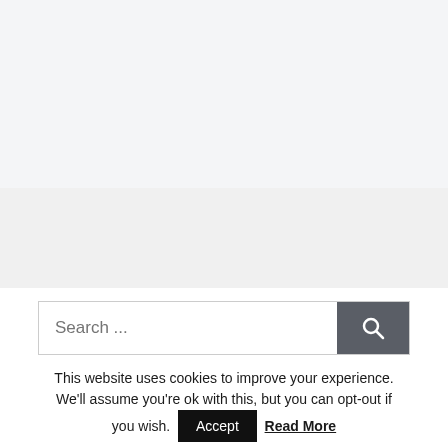[Figure (screenshot): Top gray background area (advertisement/banner placeholder)]
[Figure (screenshot): Middle gray section (advertisement/banner placeholder)]
Search ...
This website uses cookies to improve your experience. We'll assume you're ok with this, but you can opt-out if you wish. Accept Read More